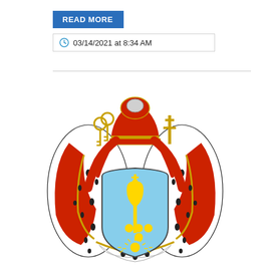READ MORE
03/14/2021 at 8:34 AM
[Figure (illustration): Coat of arms with a light blue heraldic shield bearing the Ukrainian trident (tryzub) in gold with a cross on top and three golden orbs below, a golden sun at the bottom, surrounded by white ermine mantle with black spots and red velvet drapery, topped with a red and gold papal-style mitre crown with two golden keys on the left and a patriarchal cross on the right]